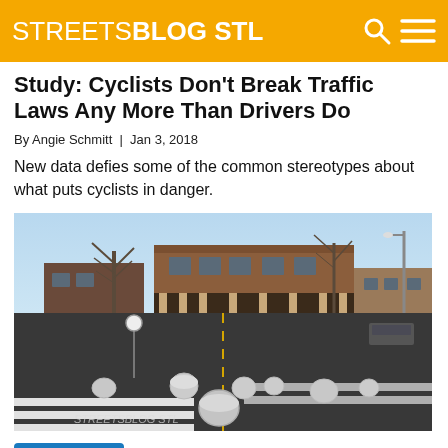STREETSBLOG STL
Study: Cyclists Don't Break Traffic Laws Any More Than Drivers Do
By Angie Schmitt | Jan 3, 2018
New data defies some of the common stereotypes about what puts cyclists in danger.
[Figure (photo): Street intersection in St. Louis with crosswalks, large concrete bollards/spheres, and a brick commercial building at the corner. Bare winter trees visible against a blue sky.]
[Figure (logo): nextSTL blue logo badge]